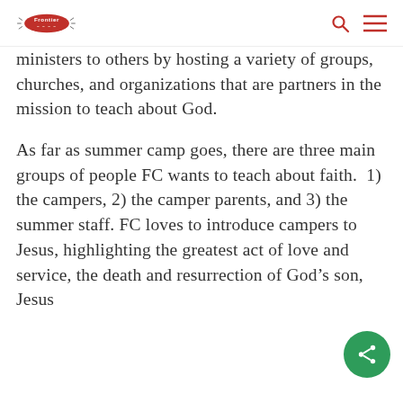Frontier Camp logo, search icon, menu icon
ministers to others by hosting a variety of groups, churches, and organizations that are partners in the mission to teach about God.
As far as summer camp goes, there are three main groups of people FC wants to teach about faith.  1) the campers, 2) the camper parents, and 3) the summer staff. FC loves to introduce campers to Jesus, highlighting the greatest act of love and service, the death and resurrection of God’s son, Jesus Christ. To the campers’ parents,